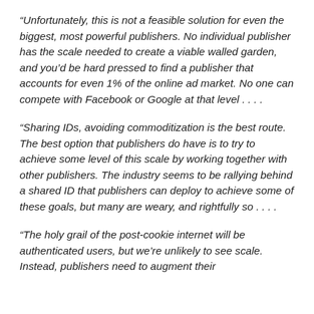“Unfortunately, this is not a feasible solution for even the biggest, most powerful publishers. No individual publisher has the scale needed to create a viable walled garden, and you’d be hard pressed to find a publisher that accounts for even 1% of the online ad market. No one can compete with Facebook or Google at that level . . . .
“Sharing IDs, avoiding commoditization is the best route. The best option that publishers do have is to try to achieve some level of this scale by working together with other publishers. The industry seems to be rallying behind a shared ID that publishers can deploy to achieve some of these goals, but many are weary, and rightfully so . . . .
“The holy grail of the post-cookie internet will be authenticated users, but we’re unlikely to see scale. Instead, publishers need to augment their